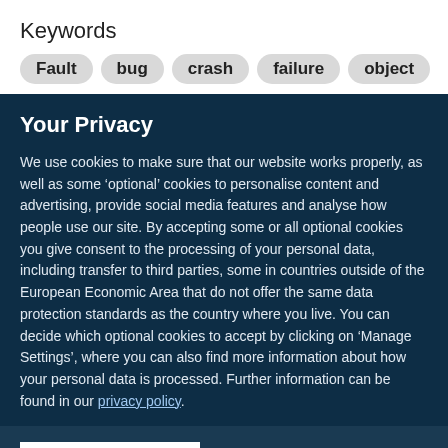Keywords
Fault
bug
crash
failure
object
Your Privacy
We use cookies to make sure that our website works properly, as well as some ‘optional’ cookies to personalise content and advertising, provide social media features and analyse how people use our site. By accepting some or all optional cookies you give consent to the processing of your personal data, including transfer to third parties, some in countries outside of the European Economic Area that do not offer the same data protection standards as the country where you live. You can decide which optional cookies to accept by clicking on ‘Manage Settings’, where you can also find more information about how your personal data is processed. Further information can be found in our privacy policy.
Accept all cookies
Manage preferences